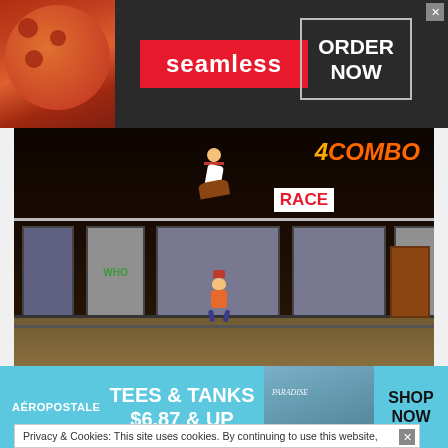[Figure (screenshot): Seamless food delivery advertisement banner with pizza image, red 'seamless' logo, and 'ORDER NOW' button with close X]
[Figure (screenshot): Screenshot of the game 'I Am The Hero' showing a subway platform scene with a character performing a jump/flip combo move (4 COMBO displayed), another character running, and a subway train in the background with RACE advertisement]
The fighting in I Am The Hero is fierce and incredibly enjoyable.
Players will punch, kick, jump, and tap into their special
Privacy & Cookies: This site uses cookies. By continuing to use this website,
[Figure (screenshot): Aeropostale advertisement banner showing 'TEES & TANKS $6.87 & UP' with SHOP NOW call to action and a clothing image]